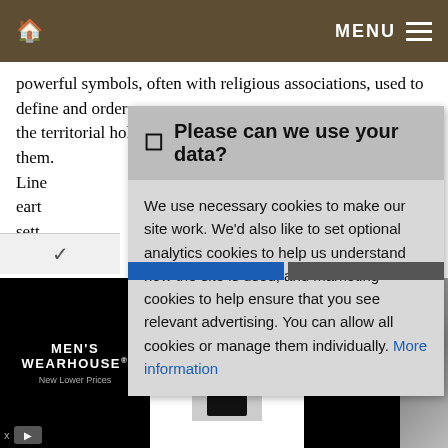🏠  MENU ≡
powerful symbols, often with religious associations, used to define and order
the territorial holdings of those groups who constructed them.
Line
earth
sett
land
norm
stat
Bow
fune
dati
[Figure (screenshot): Cookie consent dialog overlay with header 'Please can we use your data?' and body text explaining cookie usage, with a 'More information' link]
[Figure (screenshot): Advertisement banner for Men's Wearhouse showing a black tuxedo product 'Black By Vera Wang ...' priced at $229.99 with a couple in formal wear photo]
x [ad icon]